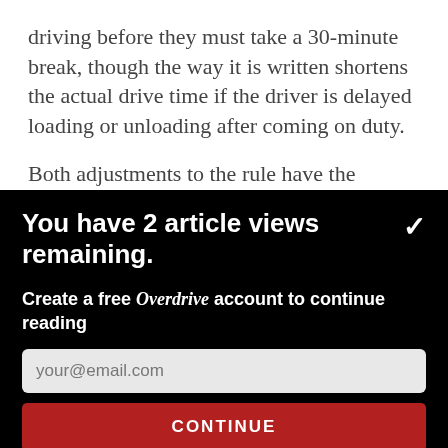driving before they must take a 30-minute break, though the way it is written shortens the actual drive time if the driver is delayed loading or unloading after coming on duty.
Both adjustments to the rule have the potential to
You have 2 article views remaining.
Create a free Overdrive account to continue reading
your@email.com
CONTINUE